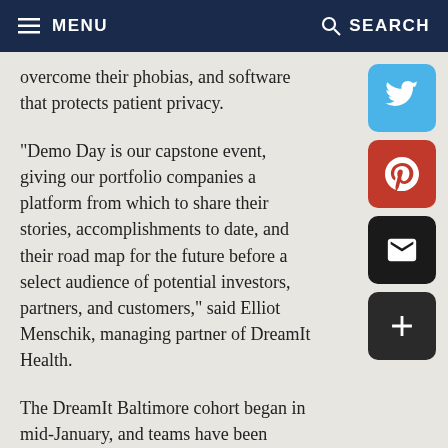MENU | SEARCH
overcome their phobias, and software that protects patient privacy.
"Demo Day is our capstone event, giving our portfolio companies a platform from which to share their stories, accomplishments to date, and their road map for the future before a select audience of potential investors, partners, and customers," said Elliot Menschik, managing partner of DreamIt Health.
The DreamIt Baltimore cohort began in mid-January, and teams have been working in office space in Baltimore’s Fell’s Point neighborhood. Their charge: Meet pressing needs for innovative health-related information technology.
Over the past four months, the companies received access to key individuals and